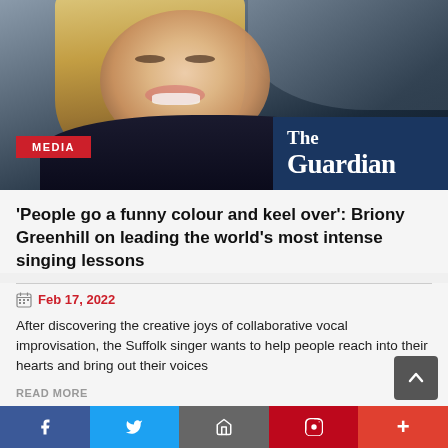[Figure (photo): Photo of Briony Greenhill, a blonde woman wearing a dark turtleneck, smiling. The Guardian logo and a red MEDIA badge appear overlaid on the image.]
'People go a funny colour and keel over': Briony Greenhill on leading the world's most intense singing lessons
Feb 17, 2022
After discovering the creative joys of collaborative vocal improvisation, the Suffolk singer wants to help people reach into their hearts and bring out their voices
READ MORE
[Figure (photo): Partial view of a second article image at the bottom of the page, showing a face partially visible against a blue background with text/logo elements.]